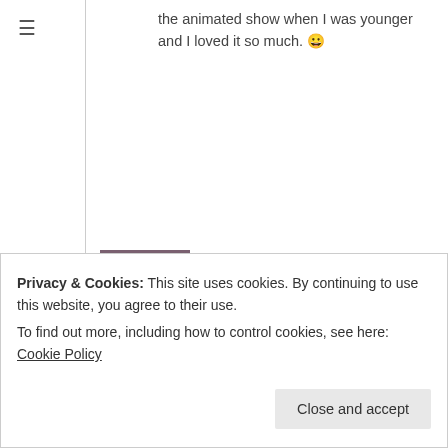the animated show when I was younger and I loved it so much. 😀
Avery @ RedRocketPanda on December 4, 2018 at 5:27 pm
Reply  ★ Liked by 1 person
omg The Animals of Farthing Wood ❤ I still have my books from when I was a child at my mums house!
Privacy & Cookies: This site uses cookies. By continuing to use this website, you agree to their use. To find out more, including how to control cookies, see here: Cookie Policy